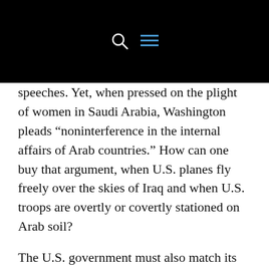speeches. Yet, when pressed on the plight of women in Saudi Arabia, Washington pleads “noninterference in the internal affairs of Arab countries.” How can one buy that argument, when U.S. planes fly freely over the skies of Iraq and when U.S. troops are overtly or covertly stationed on Arab soil?
The U.S. government must also match its rhetoric with its actions. Instead of funneling millions of dollars into corrupt state institutions that only benefit ruling elites and their cronies, U.S. aid should be aimed at enriching civic society, many of whose elements are led by Middle Eastern